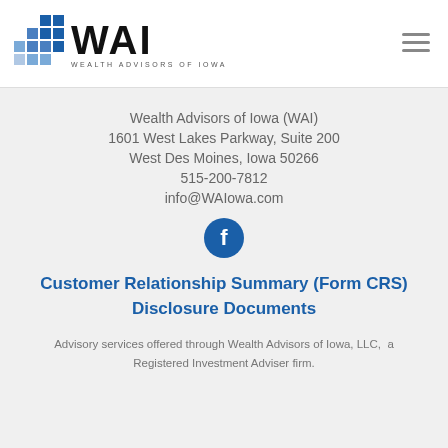[Figure (logo): WAI Wealth Advisors of Iowa logo with blue grid squares and bold WAI text]
Wealth Advisors of Iowa (WAI)
1601 West Lakes Parkway, Suite 200
West Des Moines, Iowa 50266
515-200-7812
info@WAIowa.com
[Figure (illustration): Facebook social media icon - circular dark blue button with white f logo]
Customer Relationship Summary (Form CRS) Disclosure Documents
Advisory services offered through Wealth Advisors of Iowa, LLC,  a Registered Investment Adviser firm.